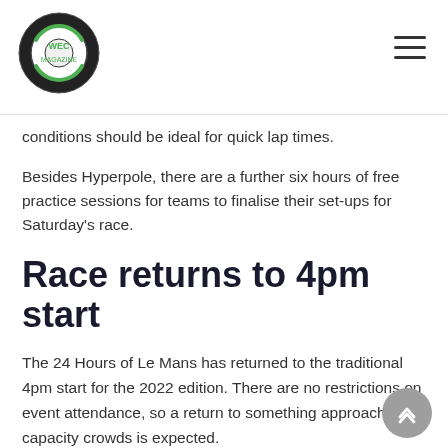WEC Magazine logo and navigation menu
conditions should be ideal for quick lap times.
Besides Hyperpole, there are a further six hours of free practice sessions for teams to finalise their set-ups for Saturday's race.
Race returns to 4pm start
The 24 Hours of Le Mans has returned to the traditional 4pm start for the 2022 edition. There are no restrictions on event attendance, so a return to something approaching capacity crowds is expected.
For a full list of session times visit our race page.
We will be providing full coverage of the week's track